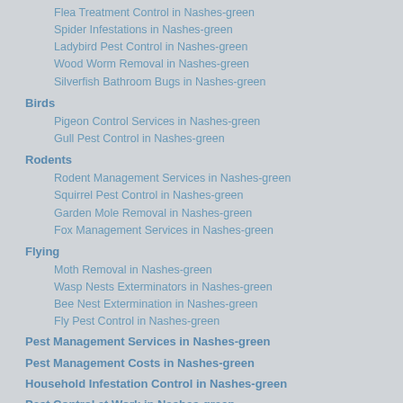Flea Treatment Control in Nashes-green
Spider Infestations in Nashes-green
Ladybird Pest Control in Nashes-green
Wood Worm Removal in Nashes-green
Silverfish Bathroom Bugs in Nashes-green
Birds
Pigeon Control Services in Nashes-green
Gull Pest Control in Nashes-green
Rodents
Rodent Management Services in Nashes-green
Squirrel Pest Control in Nashes-green
Garden Mole Removal in Nashes-green
Fox Management Services in Nashes-green
Flying
Moth Removal in Nashes-green
Wasp Nests Exterminators in Nashes-green
Bee Nest Extermination in Nashes-green
Fly Pest Control in Nashes-green
Pest Management Services in Nashes-green
Pest Management Costs in Nashes-green
Household Infestation Control in Nashes-green
Pest Control at Work in Nashes-green